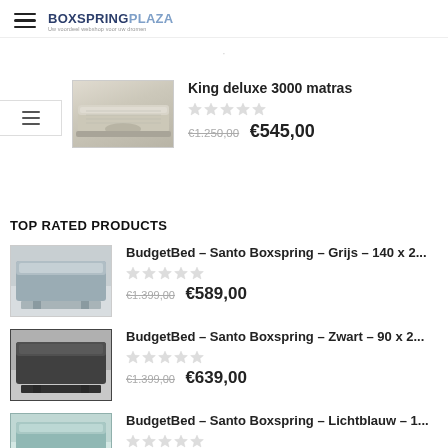BOXSPRINGPLAZA
[Figure (photo): King deluxe 3000 matras product image]
King deluxe 3000 matras
€1.250,00  €545,00
TOP RATED PRODUCTS
[Figure (photo): BudgetBed Santo Boxspring Grijs bed product image]
BudgetBed - Santo Boxspring - Grijs - 140 x 2...
€1.399,00  €589,00
[Figure (photo): BudgetBed Santo Boxspring Zwart bed product image]
BudgetBed - Santo Boxspring - Zwart - 90 x 2...
€1.399,00  €639,00
[Figure (photo): BudgetBed Santo Boxspring Lichtblauw bed product image]
BudgetBed - Santo Boxspring - Lichtblauw - 1...